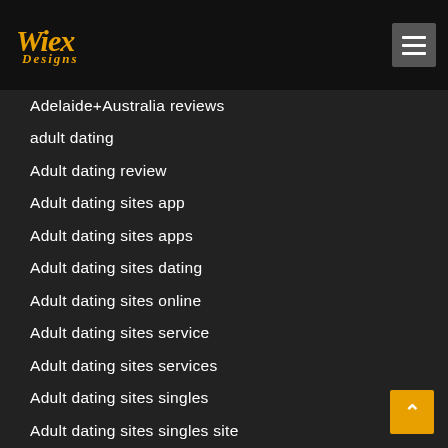[Figure (logo): Wiex Designs logo in gold italic script on black background with hamburger menu icon on the right]
Adelaide+Australia reviews
adult dating
Adult dating review
Adult dating sites app
Adult dating sites apps
Adult dating sites dating
Adult dating sites online
Adult dating sites service
Adult dating sites services
Adult dating sites singles
Adult dating sites singles site
Adult dating sites username
adult friend finder silver singles dating
Adult Hub reviews
Adult Hub username
Adult Hub visitors